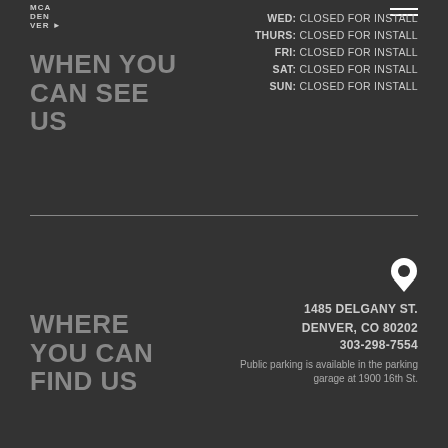MCA DEN VER
WHEN YOU CAN SEE US
WED: CLOSED FOR INSTALL
THURS: CLOSED FOR INSTALL
FRI: CLOSED FOR INSTALL
SAT: CLOSED FOR INSTALL
SUN: CLOSED FOR INSTALL
WHERE YOU CAN FIND US
1485 DELGANY ST.
DENVER, CO 80202
303-298-7554
Public parking is available in the parking garage at 1900 16th St.